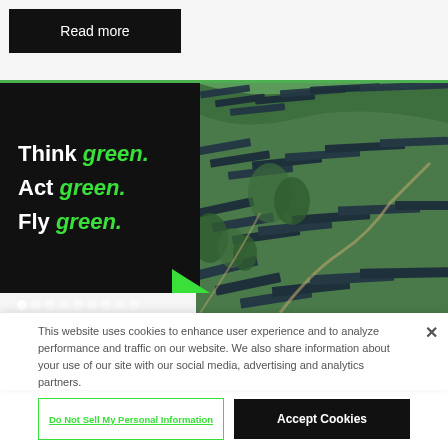Read more
[Figure (photo): Split banner image: left side black panel with bold text 'Think green. Act green. Fly green.' and right side aerial photo of large solar panel farm on green hillside. Green chevron arrow overlapping the two halves. Navigation dots at bottom left.]
This website uses cookies to enhance user experience and to analyze performance and traffic on our website. We also share information about your use of our site with our social media, advertising and analytics partners.
Do Not Sell My Personal Information
Accept Cookies